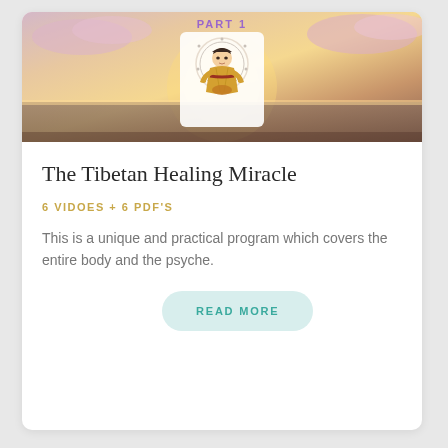[Figure (illustration): Thumbnail image showing a Tibetan/Buddhist female figure in yellow robe with halo/mandala, set against a sunset ocean sky background with clouds. Text 'PART 1' in purple at top.]
The Tibetan Healing Miracle
6 VIDOES + 6 PDF'S
This is a unique and practical program which covers the entire body and the psyche.
READ MORE